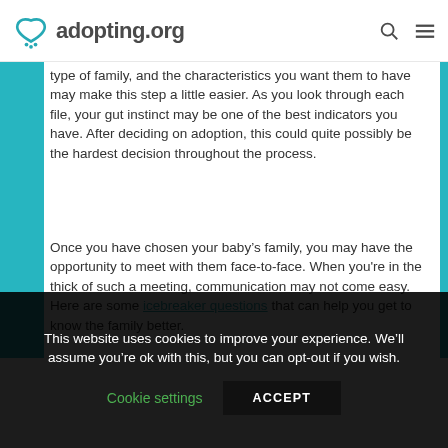adopting.org
type of family, and the characteristics you want them to have may make this step a little easier. As you look through each file, your gut instinct may be one of the best indicators you have. After deciding on adoption, this could quite possibly be the hardest decision throughout the process.
Once you have chosen your baby’s family, you may have the opportunity to meet with them face-to-face. When you're in the thick of such a meeting, communication may not come easy. Here are some icebreaker questions that can help you get to know the family better.
This website uses cookies to improve your experience. We’ll assume you’re ok with this, but you can opt-out if you wish. Cookie settings ACCEPT